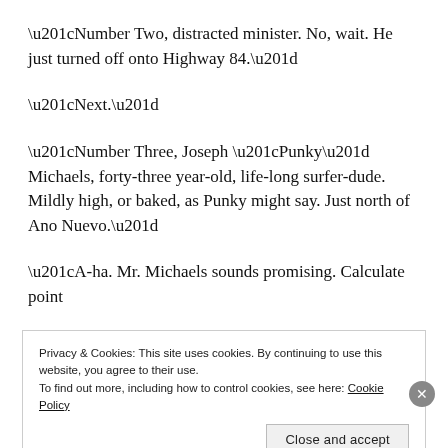“Number Two, distracted minister. No, wait. He just turned off onto Highway 84.”
“Next.”
“Number Three, Joseph “Punky” Michaels, forty-three year-old, life-long surfer-dude. Mildly high, or baked, as Punky might say. Just north of Ano Nuevo.”
“A-ha. Mr. Michaels sounds promising. Calculate point
Privacy & Cookies: This site uses cookies. By continuing to use this website, you agree to their use.
To find out more, including how to control cookies, see here: Cookie Policy
Close and accept